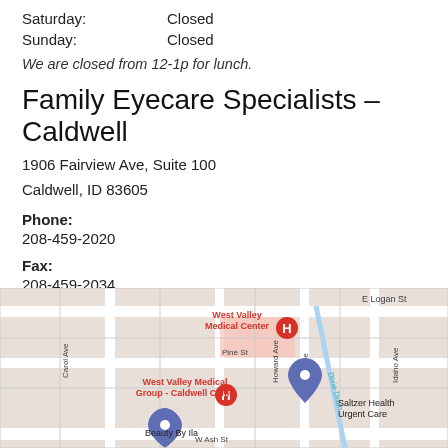Saturday:    Closed
Sunday:    Closed
We are closed from 12-1p for lunch.
Family Eyecare Specialists – Caldwell
1906 Fairview Ave, Suite 100
Caldwell, ID 83605
Phone:
208-459-2020
Fax:
208-459-2034
[Figure (map): Google Maps embed showing the area around 1906 Fairview Ave, Caldwell, ID. Shows West Valley Medical Center, West Valley Medical Group - Caldwell Clinic, Saltzer Health Urgent Care, Beauty By Ila, E Logan St, Pine St, W Ash St, Carol Ave, Howard Ave, Ray Ave, Idaho Ave, Dixie Drain.]